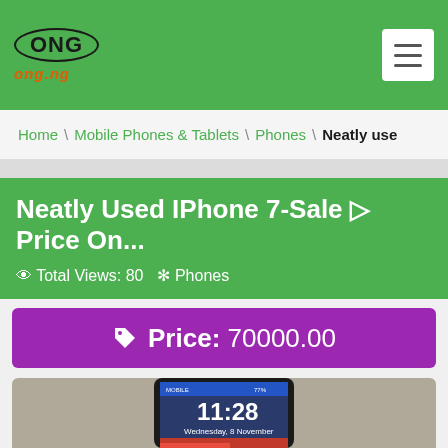ONG ong.ng
Home \ Mobile Phones & Tablets \ Phones \ Neatly use
Neatly Used IPhone 7-Sale ▷ Price On...
👁 Total Views: 80 ❊ Phones
Price: 70000.00
[Figure (photo): Hand holding a black iPhone 7 showing lock screen with time 11:28 and date Wednesday, 8 November]